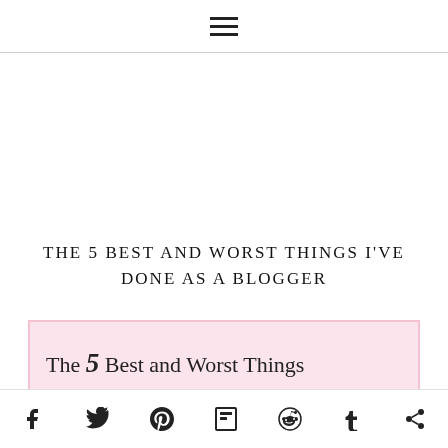☰ (hamburger menu icon)
THE 5 BEST AND WORST THINGS I'VE DONE AS A BLOGGER
[Figure (illustration): Pink background featured image with text: 'The 5 Best and Worst Things I've Done As A']
Social share icons: Facebook, Twitter, Pinterest, Flipboard, Reddit, Tumblr, Share